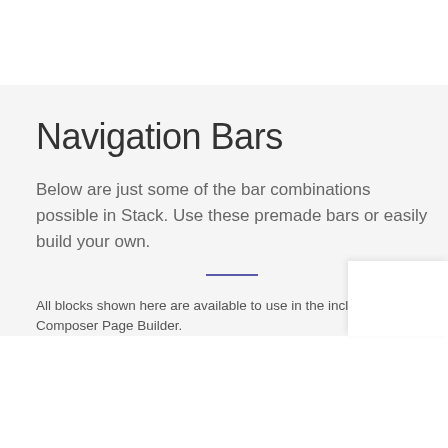Navigation Bars
Below are just some of the bar combinations possible in Stack. Use these premade bars or easily build your own.
All blocks shown here are available to use in the included Visual Composer Page Builder.